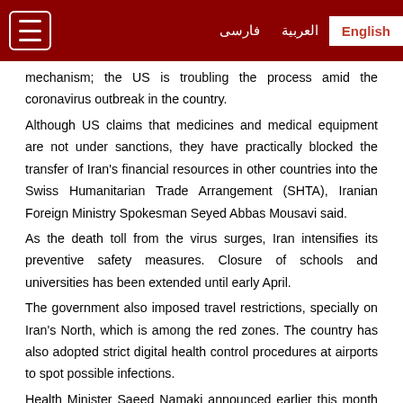English | العربية | فارسی
mechanism; the US is troubling the process amid the coronavirus outbreak in the country.
Although US claims that medicines and medical equipment are not under sanctions, they have practically blocked the transfer of Iran's financial resources in other countries into the Swiss Humanitarian Trade Arrangement (SHTA), Iranian Foreign Ministry Spokesman Seyed Abbas Mousavi said.
As the death toll from the virus surges, Iran intensifies its preventive safety measures. Closure of schools and universities has been extended until early April.
The government also imposed travel restrictions, specially on Iran's North, which is among the red zones. The country has also adopted strict digital health control procedures at airports to spot possible infections.
Health Minister Saeed Namaki announced earlier this month that a new national mobilization plan would be implemented across the country to fight against the coronavirus epidemic and more effectively treat patients.
Namaki said that the plan will include all the 17,000 health centers and the 9,000 medical and clinical centers in all cities, suburban areas and villages.